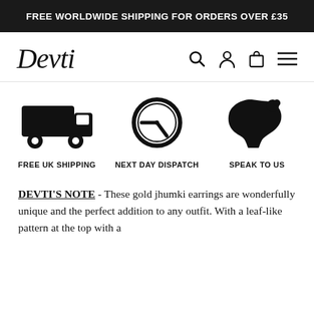FREE WORLDWIDE SHIPPING FOR ORDERS OVER £35
[Figure (logo): Devti brand logo in italic script font]
[Figure (infographic): Three icons: delivery truck labeled FREE UK SHIPPING, clock labeled NEXT DAY DISPATCH, woman silhouette labeled SPEAK TO US]
DEVTI'S NOTE - These gold jhumki earrings are wonderfully unique and the perfect addition to any outfit. With a leaf-like pattern at the top with a